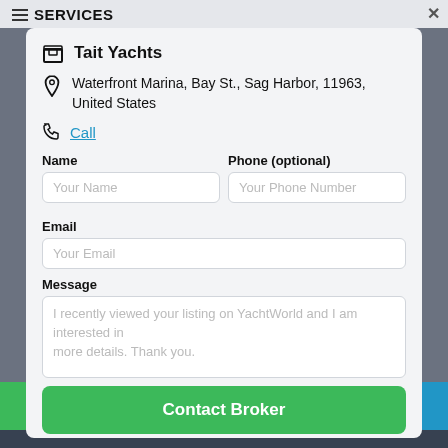SERVICES
Tait Yachts
Waterfront Marina, Bay St., Sag Harbor, 11963, United States
Call
Name
Phone (optional)
Email
Message
I recently viewed your listing on YachtWorld and I am interested in more details. Thank you.
Contact Broker